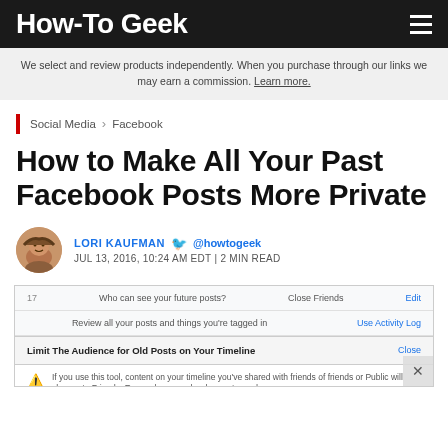How-To Geek
We select and review products independently. When you purchase through our links we may earn a commission. Learn more.
Social Media > Facebook
How to Make All Your Past Facebook Posts More Private
LORI KAUFMAN @howtogeek JUL 13, 2016, 10:24 AM EDT | 2 MIN READ
[Figure (screenshot): Facebook privacy settings screenshot showing 'Limit The Audience for Old Posts on Your Timeline' dialog with warning about changing audience from Friends of Friends or Public to Friends]